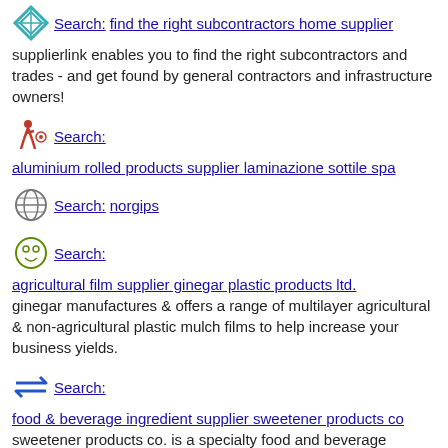Search: find the right subcontractors home supplier — supplierlink enables you to find the right subcontractors and trades - and get found by general contractors and infrastructure owners!
Search: aluminium rolled products supplier laminazione sottile spa
Search: norgips
Search: agricultural film supplier ginegar plastic products ltd. — ginegar manufactures & offers a range of multilayer agricultural & non-agricultural plastic mulch films to help increase your business yields.
Search: food & beverage ingredient supplier sweetener products co — sweetener products co. is a specialty food and beverage ingredient supplier located in vernon, ca with distribution centers in california and the pacific northwest.